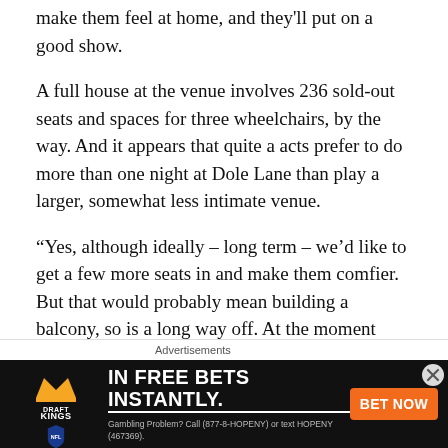make them feel at home, and they'll put on a good show.
A full house at the venue involves 236 sold-out seats and spaces for three wheelchairs, by the way. And it appears that quite a acts prefer to do more than one night at Dole Lane than play a larger, somewhat less intimate venue.
“Yes, although ideally – long term – we’d like to get a few more seats in and make them comfier. But that would probably mean building a balcony, so is a long way off. At the moment we’re fine and everyone enjoys it as it is, and Chris Ramsey did two gigs here while Jenny Eclair sold out and will be coming back.”
It’s clearly a proper community venture too. With that in
Advertisements
[Figure (infographic): DraftKings NFL advertisement banner: black background with DraftKings logo and NFL shield on left, text 'IN FREE BETS INSTANTLY.' in white bold, orange 'BET NOW' button, and gambling problem disclaimer at bottom.]